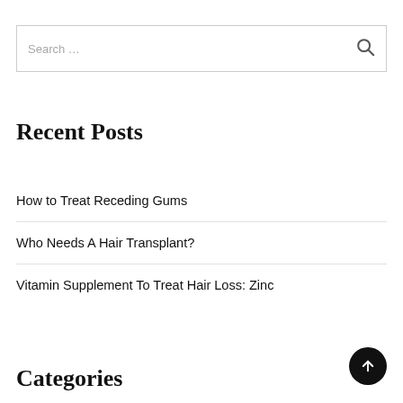[Figure (other): Search box with placeholder text 'Search ...' and a magnifying glass icon on the right]
Recent Posts
How to Treat Receding Gums
Who Needs A Hair Transplant?
Vitamin Supplement To Treat Hair Loss: Zinc
Categories